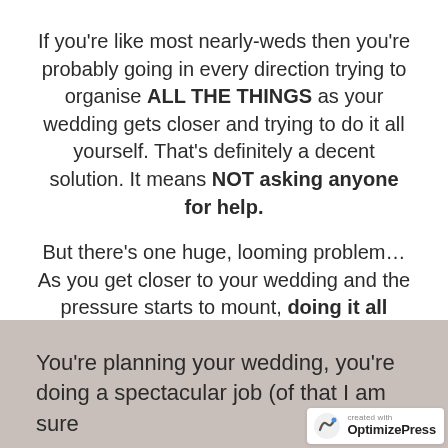If you're like most nearly-weds then you're probably going in every direction trying to organise ALL THE THINGS as your wedding gets closer and trying to do it all yourself. That's definitely a decent solution. It means NOT asking anyone for help.
But there's one huge, looming problem... As you get closer to your wedding and the pressure starts to mount, doing it all yourself gets harder and harder.
You know what I'm talking, about right?
You're planning your wedding, you're doing a spectacular job (of that I am sure